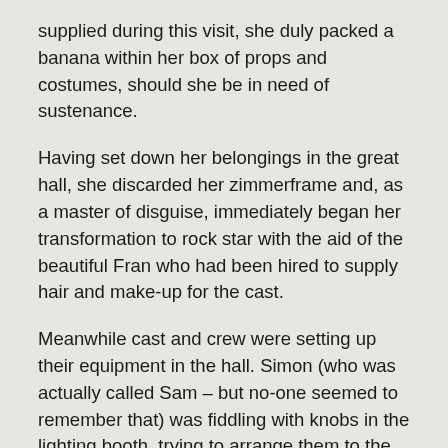supplied during this visit, she duly packed a banana within her box of props and costumes, should she be in need of sustenance.
Having set down her belongings in the great hall, she discarded her zimmerframe and, as a master of disguise, immediately began her transformation to rock star with the aid of the beautiful Fran who had been hired to supply hair and make-up for the cast.
Meanwhile cast and crew were setting up their equipment in the hall. Simon (who was actually called Sam – but no-one seemed to remember that) was fiddling with knobs in the lighting booth, trying to arrange them to the satisfaction of the Director Algie (Sir Algie of the Upper Algies of Essex), whilst Sara (that's LADY Sara to you), his assistant and Producer, was running from one end of the hall to the other,